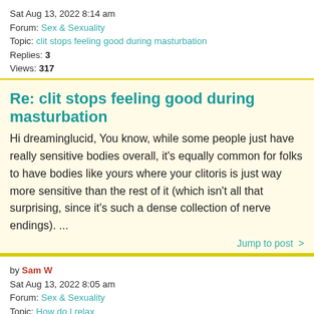Sat Aug 13, 2022 8:14 am
Forum: Sex & Sexuality
Topic: clit stops feeling good during masturbation
Replies: 3
Views: 317
Re: clit stops feeling good during masturbation
Hi dreaminglucid, You know, while some people just have really sensitive bodies overall, it's equally common for folks to have bodies like yours where your clitoris is just way more sensitive than the rest of it (which isn't all that surprising, since it's such a dense collection of nerve endings). ...
Jump to post >
by Sam W
Sat Aug 13, 2022 8:05 am
Forum: Sex & Sexuality
Topic: How do I relax
Replies: 1
Views: 81
Re: How do I relax
Hi purple_giraffe, Let's start with the lube question first. Even if you're very aroused and producing a lot of vaginal